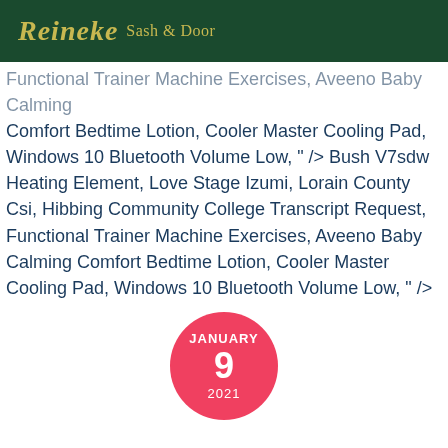Reineke Sash & Door
Functional Trainer Machine Exercises, Aveeno Baby Calming Comfort Bedtime Lotion, Cooler Master Cooling Pad, Windows 10 Bluetooth Volume Low, " /> Bush V7sdw Heating Element, Love Stage Izumi, Lorain County Csi, Hibbing Community College Transcript Request, Functional Trainer Machine Exercises, Aveeno Baby Calming Comfort Bedtime Lotion, Cooler Master Cooling Pad, Windows 10 Bluetooth Volume Low, " />
[Figure (other): Red circle with date: JANUARY 9 2021]